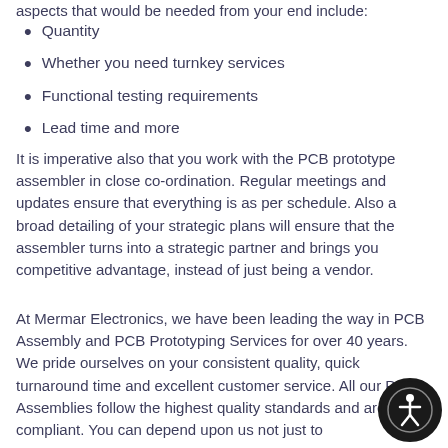aspects that would be needed from your end include:
Quantity
Whether you need turnkey services
Functional testing requirements
Lead time and more
It is imperative also that you work with the PCB prototype assembler in close co-ordination. Regular meetings and updates ensure that everything is as per schedule. Also a broad detailing of your strategic plans will ensure that the assembler turns into a strategic partner and brings you competitive advantage, instead of just being a vendor.
At Mermar Electronics, we have been leading the way in PCB Assembly and PCB Prototyping Services for over 40 years. We pride ourselves on your consistent quality, quick turnaround time and excellent customer service. All our PCB Assemblies follow the highest quality standards and are RoHS compliant. You can depend upon us not just to